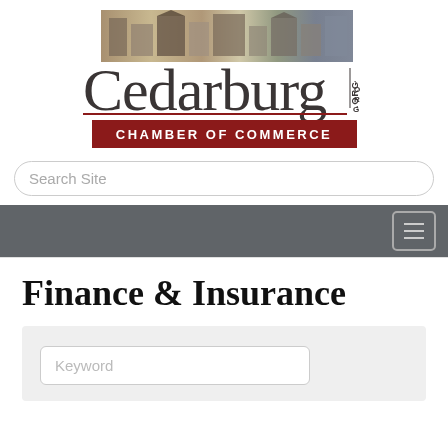[Figure (logo): Cedarburg Chamber of Commerce logo with photo strip of buildings at top, large serif Cedarburg text with .ORG vertical text, and dark red CHAMBER OF COMMERCE banner below]
Search Site
[Figure (other): Dark gray navigation bar with hamburger menu button on right]
Finance & Insurance
Keyword